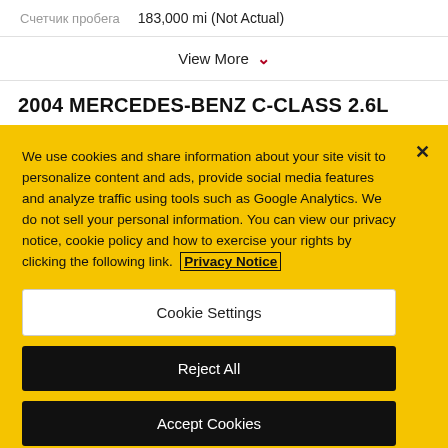Счетчик пробега   183,000 mi (Not Actual)
View More
2004 MERCEDES-BENZ C-CLASS 2.6L
We use cookies and share information about your site visit to personalize content and ads, provide social media features and analyze traffic using tools such as Google Analytics. We do not sell your personal information. You can view our privacy notice, cookie policy and how to exercise your rights by clicking the following link. Privacy Notice
Cookie Settings
Reject All
Accept Cookies